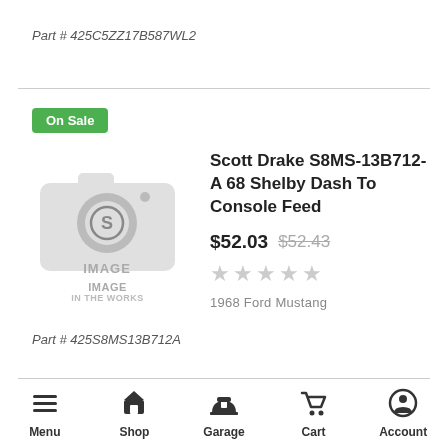Part # 425C5ZZ17B587WL2
On Sale
[Figure (photo): Placeholder product image showing a camera icon with text IMAGE IN THE WORKS]
Scott Drake S8MS-13B712-A 68 Shelby Dash To Console Feed
$52.03  $52.43
1968 Ford Mustang
Part # 425S8MS13B712A
Menu  Shop  Garage  Cart  Account